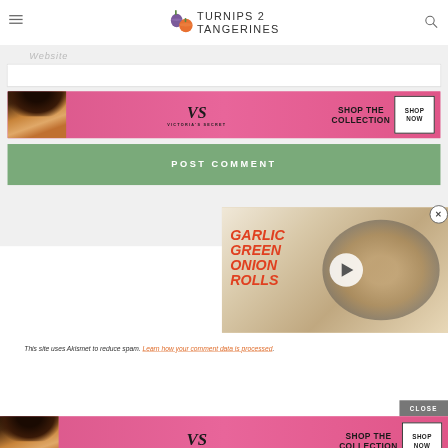Turnips 2 Tangerines
Website
[Figure (photo): Victoria's Secret advertisement banner with model, VS logo, 'SHOP THE COLLECTION' text, and 'SHOP NOW' button on pink background]
POST COMMENT
[Figure (screenshot): Video overlay showing Garlic Green Onion Rolls recipe with bread rolls image and play button]
This site uses Akismet to reduce spam. Learn how your comment data is processed.
[Figure (photo): Victoria's Secret advertisement banner (bottom) with model, VS logo, 'SHOP THE COLLECTION' text, and 'SHOP NOW' button on pink background]